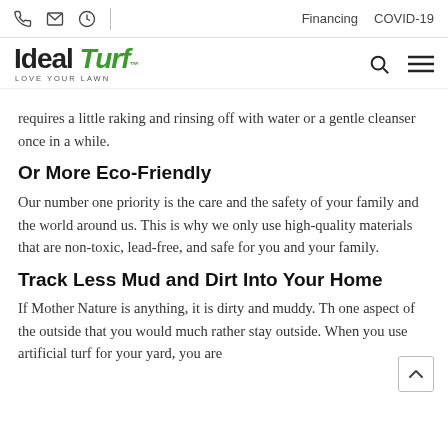Financing  COVID-19
[Figure (logo): Ideal Turf logo with tagline LOVE YOUR LAWN, green italic Turf text]
requires a little raking and rinsing off with water or a gentle cleanser once in a while.
Or More Eco-Friendly
Our number one priority is the care and the safety of your family and the world around us. This is why we only use high-quality materials that are non-toxic, lead-free, and safe for you and your family.
Track Less Mud and Dirt Into Your Home
If Mother Nature is anything, it is dirty and muddy. Th one aspect of the outside that you would much rather stay outside. When you use artificial turf for your yard, you are